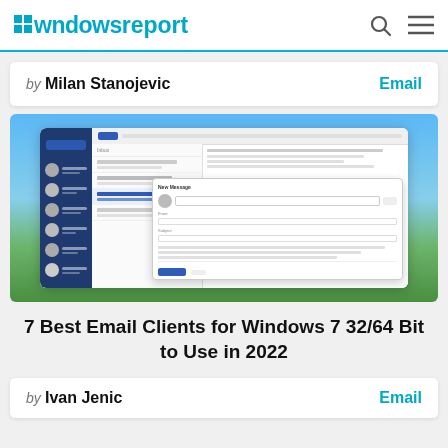windowsreport
by Milan Stanojevic   Email
[Figure (screenshot): Screenshot of an email client application showing a dark blue sidebar with email contacts/messages list and a compose email window overlaid on a Windows XP-style desktop background with blue sky and green grass.]
7 Best Email Clients for Windows 7 32/64 Bit to Use in 2022
by Ivan Jenic   Email